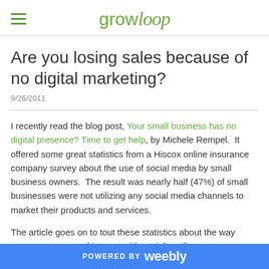growloop
Are you losing sales because of no digital marketing?
9/26/2011
I recently read the blog post, Your small business has no digital presence? Time to get help, by Michele Rempel.  It offered some great statistics from a Hiscox online insurance company survey about the use of social media by small business owners.  The result was nearly half (47%) of small businesses were not utilizing any social media channels to market their products and services.
The article goes on to tout these statistics about the way consumers use and interact with social media:
POWERED BY weebly